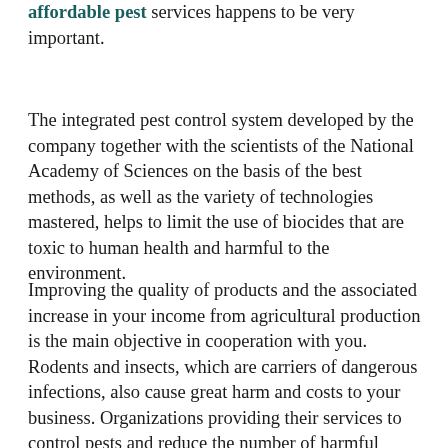affordable pest services happens to be very important.
The integrated pest control system developed by the company together with the scientists of the National Academy of Sciences on the basis of the best methods, as well as the variety of technologies mastered, helps to limit the use of biocides that are toxic to human health and harmful to the environment.
Improving the quality of products and the associated increase in your income from agricultural production is the main objective in cooperation with you. Rodents and insects, which are carriers of dangerous infections, also cause great harm and costs to your business. Organizations providing their services to control pests and reduce the number of harmful